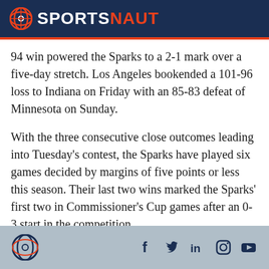SPORTSNAUT
94 win powered the Sparks to a 2-1 mark over a five-day stretch. Los Angeles bookended a 101-96 loss to Indiana on Friday with an 85-83 defeat of Minnesota on Sunday.
With the three consecutive close outcomes leading into Tuesday’s contest, the Sparks have played six games decided by margins of five points or less this season. Their last two wins marked the Sparks’ first two in Commissioner’s Cup games after an 0-3 start in the competition.
Tuesday’s matchup is another Commissioner’s Cup
Sportsnaut logo and social media icons: Facebook, Twitter, LinkedIn, Instagram, YouTube